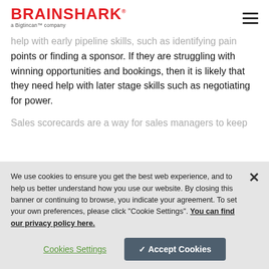BRAINSHARK a Bigtincan™ company
help with early pipeline skills, such as identifying pain points or finding a sponsor. If they are struggling with winning opportunities and bookings, then it is likely that they need help with later stage skills such as negotiating for power.
Sales scorecards are a way for sales managers to keep...
We use cookies to ensure you get the best web experience, and to help us better understand how you use our website. By closing this banner or continuing to browse, you indicate your agreement. To set your own preferences, please click "Cookie Settings". You can find our privacy policy here.
Cookies Settings
✓ Accept Cookies